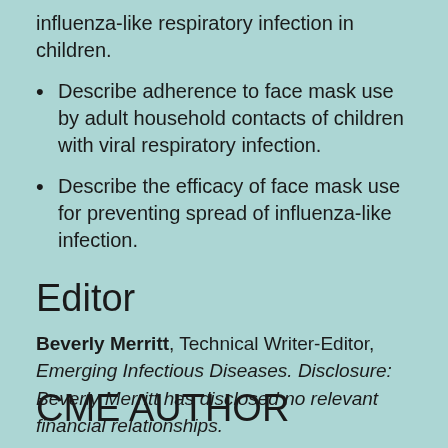influenza-like respiratory infection in children.
Describe adherence to face mask use by adult household contacts of children with viral respiratory infection.
Describe the efficacy of face mask use for preventing spread of influenza-like infection.
Editor
Beverly Merritt, Technical Writer-Editor, Emerging Infectious Diseases. Disclosure: Beverly Merritt has disclosed no relevant financial relationships.
CME AUTHOR